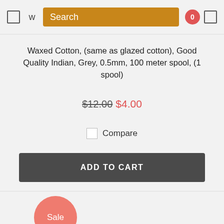Search
Waxed Cotton, (same as glazed cotton), Good Quality Indian, Grey, 0.5mm, 100 meter spool, (1 spool)
$12.00 $4.00
Compare
ADD TO CART
[Figure (illustration): Sale badge - coral/salmon colored circle with white 'Sale' text]